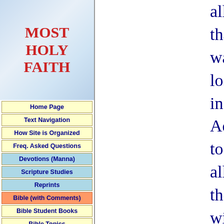[Figure (illustration): Blue sky cloud background logo area with text MOST HOLY FAITH in red serif font]
Home Page
Text Navigation
How Site is Organized
Freq. Asked Questions
Devotions (Manna)
Scripture Studies
Reprints
Bible (with Comments)
Bible Student Books
Bible Topics
Expanded Bible Topics
Bible Student Webs
Miscellaneous
all that was lost in Adam, to all the willing and obedient, at the hands of their Redeemer and his glorified